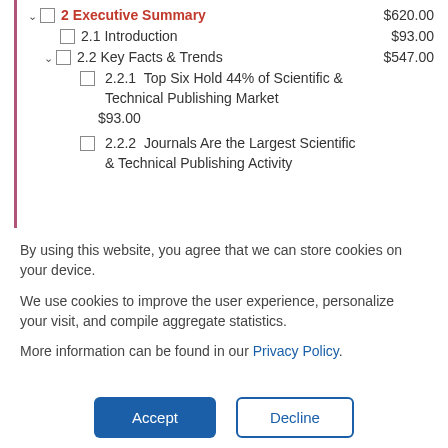2 Executive Summary $620.00
2.1 Introduction $93.00
2.2 Key Facts & Trends $547.00
2.2.1 Top Six Hold 44% of Scientific & Technical Publishing Market $93.00
2.2.2 Journals Are the Largest Scientific & Technical Publishing Activity
By using this website, you agree that we can store cookies on your device.
We use cookies to improve the user experience, personalize your visit, and compile aggregate statistics.
More information can be found in our Privacy Policy.
Accept
Decline